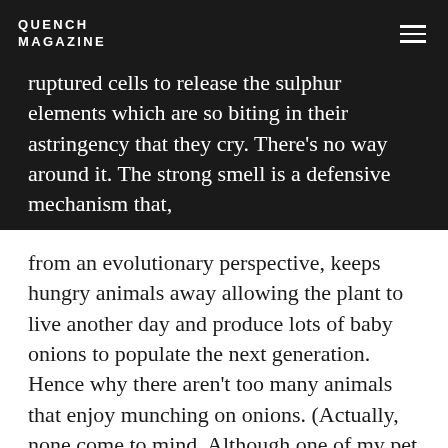QUENCH MAGAZINE
ruptured cells to release the sulphur elements which are so biting in their astringency that they cry. There’s no way around it. The strong smell is a defensive mechanism that, from an evolutionary perspective, keeps hungry animals away allowing the plant to live another day and produce lots of baby onions to populate the next generation. Hence why there aren’t too many animals that enjoy munching on onions. (Actually, none come to mind. Although one of my pet rabbits, Jo Louis, decided that she likes to snack on the dried leaves of bulb onions.)
People, however, are another story. We’re a pretty determined bunch because we know that chopping onions into pretty much anything we cook is going to make that dish scrumptious. So